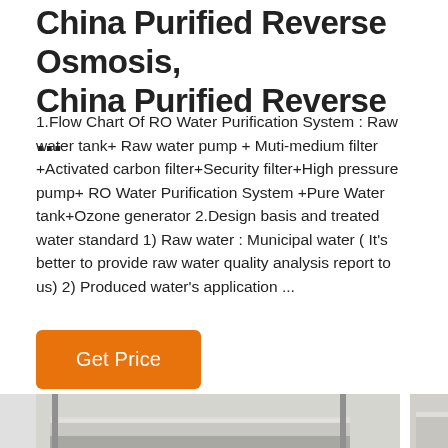China Purified Reverse Osmosis, China Purified Reverse ...
1.Flow Chart Of RO Water Purification System : Raw water tank+ Raw water pump + Muti-medium filter +Activated carbon filter+Security filter+High pressure pump+ RO Water Purification System +Pure Water tank+Ozone generator 2.Design basis and treated water standard 1) Raw water : Municipal water ( It's better to provide raw water quality analysis report to us) 2) Produced water's application ...
[Figure (other): Button labeled 'Get Price' with orange background]
[Figure (photo): Photo of RO (Reverse Osmosis) water purification system showing cylindrical membrane housings/vessels mounted on a metal frame in an industrial setting.]